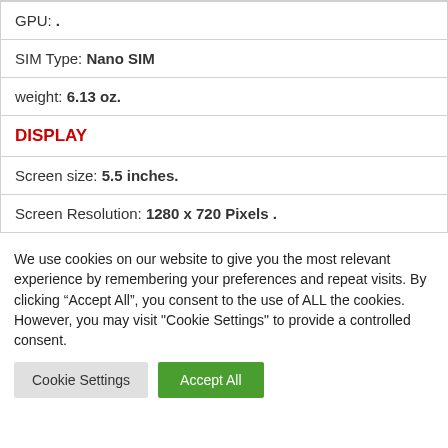| GPU: . |
| SIM Type: Nano SIM |
| weight: 6.13 oz. |
| DISPLAY |
| Screen size: 5.5 inches. |
| Screen Resolution: 1280 x 720 Pixels . |
We use cookies on our website to give you the most relevant experience by remembering your preferences and repeat visits. By clicking “Accept All”, you consent to the use of ALL the cookies. However, you may visit "Cookie Settings" to provide a controlled consent.
Cookie Settings | Accept All